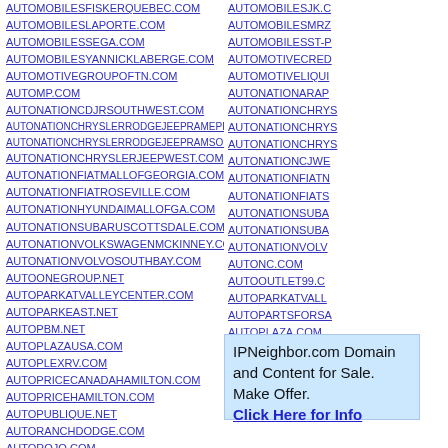AUTOMOBILESFISKERQUEBEC.COM
AUTOMOBILESLAPORTE.COM
AUTOMOBILESSEGA.COM
AUTOMOBILESYANNICKLABERGE.COM
AUTOMOTIVEGROUPOFTN.COM
AUTOMP.COM
AUTONATIONCDJRSOUTHWEST.COM
AUTONATIONCHRYSLERRODGEJEEPRAMEPEMBROKEPINES.COM
AUTONATIONCHRYSLERRODGEJEEPRAMSOUTHWEST.COM
AUTONATIONCHRYSLERJEEPWEST.COM
AUTONATIONFIATMALLOFGEORGIA.COM
AUTONATIONFIATROSEVILLE.COM
AUTONATIONHYUNDAIMALLOFGA.COM
AUTONATIONSUBARUSCOTTSDALE.COM
AUTONATIONVOLKSWAGENMCKINNEY.COM
AUTONATIONVOLVOSOUTHBAY.COM
AUTOONEGROUP.NET
AUTOPARKATVALLEYCENTER.COM
AUTOPARKEAST.NET
AUTOPBM.NET
AUTOPLAZAUSA.COM
AUTOPLEX RV.COM
AUTOPRICECANADAHAMILTON.COM
AUTOPRICEHAMILTON.COM
AUTOPUBLIQUE.NET
AUTORANCHDODGE.COM
AUTOROJO.COM
AUTOSCLAUDEDROUIN.COM
AUTOMOBILESJK.C...
AUTOMOBILESMR2...
AUTOMOBILESST-P...
AUTOMOTIVECRED...
AUTOMOTIVELIQUI...
AUTONATIONARAP...
AUTONATIONCHR Y...
AUTONATIONCHR Y...
AUTONATIONCHR Y...
AUTONATIONCJWE...
AUTONATIONFIATN...
AUTONATIONFIATS...
AUTONATIONSUBA...
AUTONATIONSUBA...
AUTONATIONVOLV...
AUTONC.COM
AUTOOUTLET99.C...
AUTOPARKATVALL...
AUTOPARTSFORSA...
AUTOPLAZA.COM
AUTOPLEX.COM
AUTOPLUSCANADA...
AUTOPRICECANAD...
IPNeighbor.com Domain and Content for Sale. Make Offer. Click Here for Info